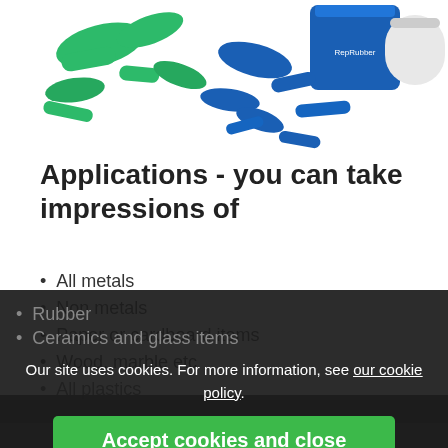[Figure (photo): Product photo showing green and blue silicone rubber moulding pieces and containers labeled RepRubber]
Applications - you can take impressions of
All metals
Non metals
Paper or cardboard items
Wood, marble etc
All plastics
Rubber
Ceramics and glass items
Physical properties - hard copy replicas:
Replicate any shape including those with under cuts or grooves
Our site uses cookies. For more information, see our cookie policy.